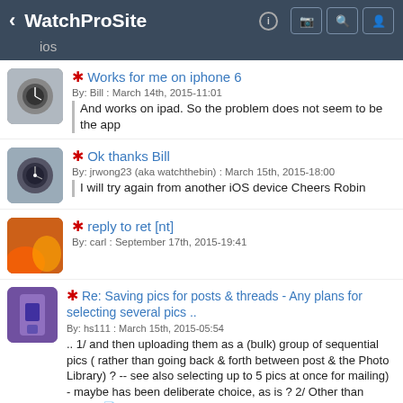WatchProSite ios
Works for me on iphone 6
By: Bill : March 14th, 2015-11:01
And works on ipad. So the problem does not seem to be the app
Ok thanks Bill
By: jrwong23 (aka watchthebin) : March 15th, 2015-18:00
I will try again from another iOS device Cheers Robin
reply to ret [nt]
By: carl : September 17th, 2015-19:41
Re: Saving pics for posts & threads - Any plans for selecting several pics ..
By: hs111 : March 15th, 2015-05:54
.. 1/ and then uploading them as a (bulk) group of sequential pics ( rather than going back & forth between post & the Photo Library) ? -- see also selecting up to 5 pics at once for mailing) - maybe has been deliberate choice, as is ? 2/ Other than that,...